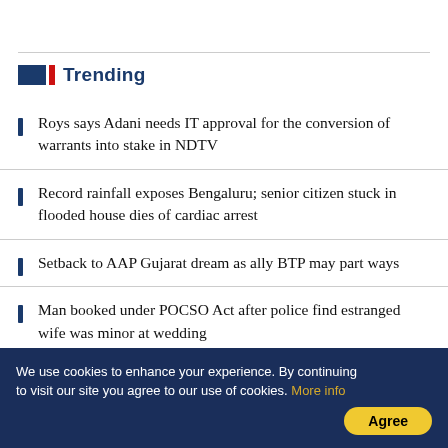Trending
Roys says Adani needs IT approval for the conversion of warrants into stake in NDTV
Record rainfall exposes Bengaluru; senior citizen stuck in flooded house dies of cardiac arrest
Setback to AAP Gujarat dream as ally BTP may part ways
Man booked under POCSO Act after police find estranged wife was minor at wedding
BSNL's 4G service may start next year due to
We use cookies to enhance your experience. By continuing to visit our site you agree to our use of cookies. More info Agree